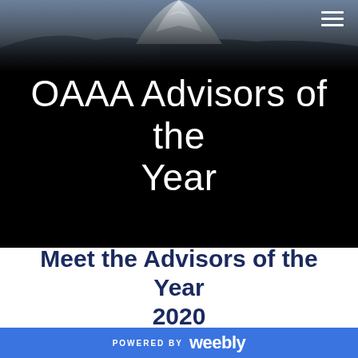[Figure (photo): Hero banner with mountain landscape photo (snow-capped peak against blue-grey sky) fading into black background, with hamburger menu icon in top right corner]
OAAA Advisors of the Year
Meet the Advisors of the Year 2020
POWERED BY weebly